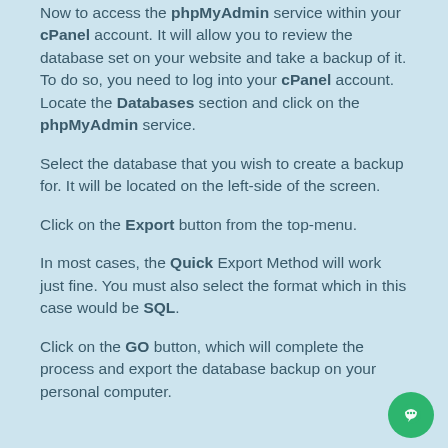Now to access the phpMyAdmin service within your cPanel account. It will allow you to review the database set on your website and take a backup of it. To do so, you need to log into your cPanel account. Locate the Databases section and click on the phpMyAdmin service.
Select the database that you wish to create a backup for. It will be located on the left-side of the screen.
Click on the Export button from the top-menu.
In most cases, the Quick Export Method will work just fine. You must also select the format which in this case would be SQL.
Click on the GO button, which will complete the process and export the database backup on your personal computer.
How to Backup Joomla Database via cPanel
This tutorial will review the process of creating a